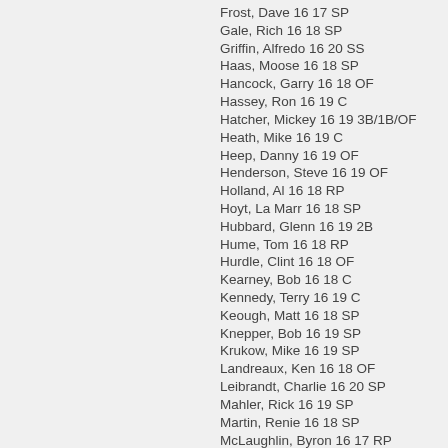Frost, Dave 16 17 SP
Gale, Rich 16 18 SP
Griffin, Alfredo 16 20 SS
Haas, Moose 16 18 SP
Hancock, Garry 16 18 OF
Hassey, Ron 16 19 C
Hatcher, Mickey 16 19 3B/1B/OF
Heath, Mike 16 19 C
Heep, Danny 16 19 OF
Henderson, Steve 16 19 OF
Holland, Al 16 18 RP
Hoyt, La Marr 16 18 SP
Hubbard, Glenn 16 19 2B
Hume, Tom 16 18 RP
Hurdle, Clint 16 18 OF
Kearney, Bob 16 18 C
Kennedy, Terry 16 19 C
Keough, Matt 16 18 SP
Knepper, Bob 16 19 SP
Krukow, Mike 16 19 SP
Landreaux, Ken 16 18 OF
Leibrandt, Charlie 16 20 SP
Mahler, Rick 16 19 SP
Martin, Renie 16 18 SP
McLaughlin, Byron 16 17 RP